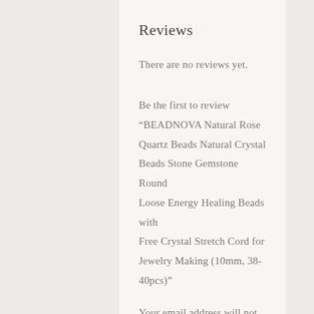Reviews
There are no reviews yet.
Be the first to review “BEADNOVA Natural Rose Quartz Beads Natural Crystal Beads Stone Gemstone Round Loose Energy Healing Beads with Free Crystal Stretch Cord for Jewelry Making (10mm, 38-40pcs)”
Your email address will not be